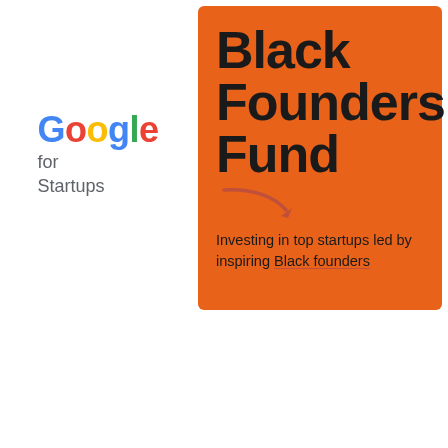[Figure (logo): Google for Startups logo with Google wordmark in multicolor and 'for Startups' in gray below]
[Figure (infographic): Orange square panel with bold black text reading 'Black Founders Fund' with a red curved arrow, and subtitle 'Investing in top startups led by inspiring Black founders']